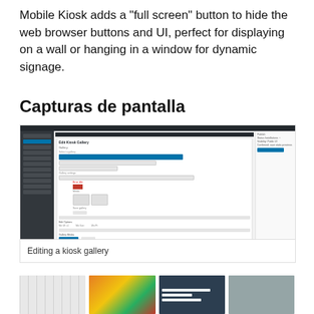Mobile Kiosk adds a "full screen" button to hide the web browser buttons and UI, perfect for displaying on a wall or hanging in a window for dynamic signage.
Capturas de pantalla
[Figure (screenshot): WordPress admin panel showing the Edit Kiosk Gallery interface with gallery settings, image uploads, and media library items.]
Editing a kiosk gallery
[Figure (screenshot): Row of four thumbnail screenshots showing different kiosk views.]